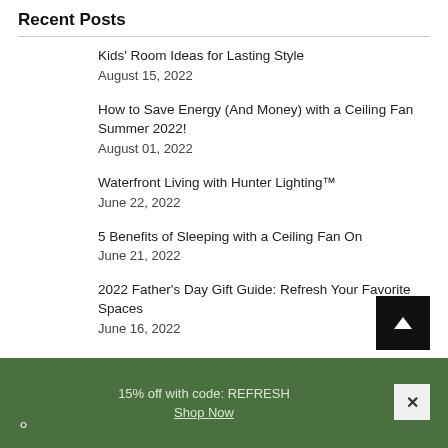Recent Posts
Kids' Room Ideas for Lasting Style
August 15, 2022
How to Save Energy (And Money) with a Ceiling Fan Summer 2022!
August 01, 2022
Waterfront Living with Hunter Lighting™
June 22, 2022
5 Benefits of Sleeping with a Ceiling Fan On
June 21, 2022
2022 Father's Day Gift Guide: Refresh Your Favorite Spaces
June 16, 2022
15% off with code: REFRESH
Shop Now